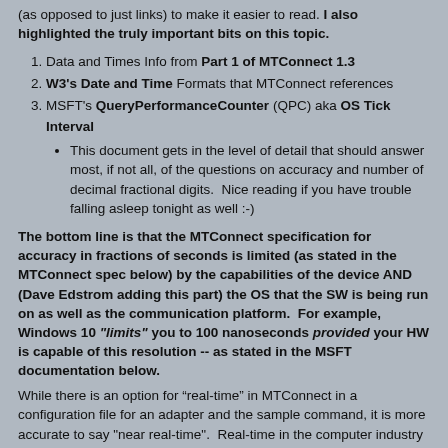(as opposed to just links) to make it easier to read. I also highlighted the truly important bits on this topic.
1. Data and Times Info from Part 1 of MTConnect 1.3
2. W3's Date and Time Formats that MTConnect references
3. MSFT's QueryPerformanceCounter (QPC) aka OS Tick Interval
This document gets in the level of detail that should answer most, if not all, of the questions on accuracy and number of decimal fractional digits. Nice reading if you have trouble falling asleep tonight as well :-)
The bottom line is that the MTConnect specification for accuracy in fractions of seconds is limited (as stated in the MTConnect spec below) by the capabilities of the device AND (Dave Edstrom adding this part) the OS that the SW is being run on as well as the communication platform. For example, Windows 10 "limits" you to 100 nanoseconds provided your HW is capable of this resolution -- as stated in the MSFT documentation below.
While there is an option for “real-time” in MTConnect in a configuration file for an adapter and the sample command, it is more accurate to say "near real-time". Real-time in the computer industry means a guaranteed response time from event to system response
A guaranteed response time is not part of the MTConnect specification.